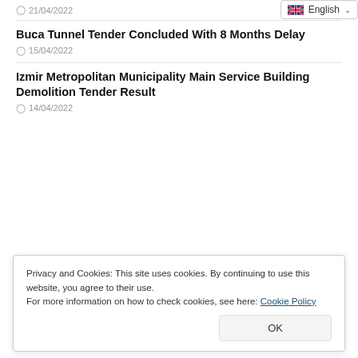21/04/2022
Buca Tunnel Tender Concluded With 8 Months Delay
15/04/2022
Izmir Metropolitan Municipality Main Service Building Demolition Tender Result
14/04/2022
Privacy and Cookies: This site uses cookies. By continuing to use this website, you agree to their use.
For more information on how to check cookies, see here: Cookie Policy